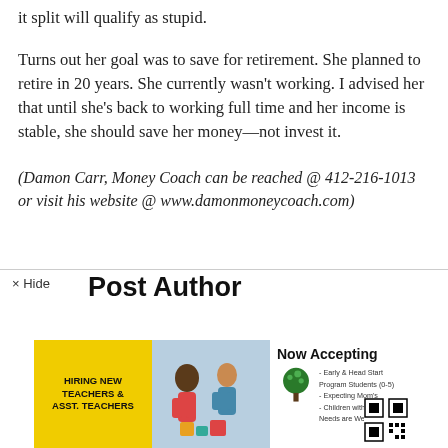it split will qualify as stupid.
Turns out her goal was to save for retirement. She planned to retire in 20 years. She currently wasn't working. I advised her that until she's back to working full time and her income is stable, she should save her money—not invest it.
(Damon Carr, Money Coach can be reached @ 412-216-1013 or visit his website @ www.damonmoneycoach.com)
Post Author
[Figure (photo): Advertisement banner for hiring new teachers and assistant teachers with child education program accepting students, expecting moms, and children with special needs]
× Hide